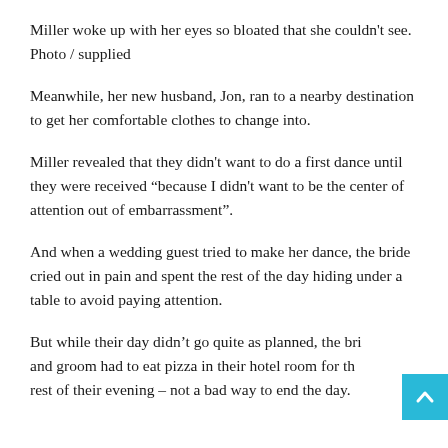Miller woke up with her eyes so bloated that she couldn't see. Photo / supplied
Meanwhile, her new husband, Jon, ran to a nearby destination to get her comfortable clothes to change into.
Miller revealed that they didn't want to do a first dance until they were received “because I didn't want to be the center of attention out of embarrassment”.
And when a wedding guest tried to make her dance, the bride cried out in pain and spent the rest of the day hiding under a table to avoid paying attention.
But while their day didn’t go quite as planned, the bride and groom had to eat pizza in their hotel room for the rest of their evening – not a bad way to end the day.